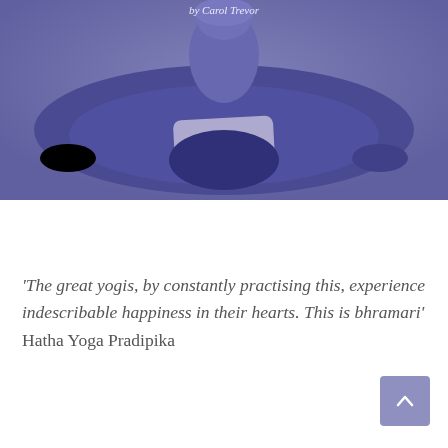[Figure (photo): A person sitting in a yoga meditation pose (butterfly or bound angle pose) photographed from above, with a purple/lavender tinted overlay. The image shows crossed legs with hands resting in lap, with a light-colored cushion or bolster visible. Text 'by Carol Trevor' appears at the top of the image.]
'The great yogis, by constantly practising this, experience indescribable happiness in their hearts. This is bhramari' Hatha Yoga Pradipika